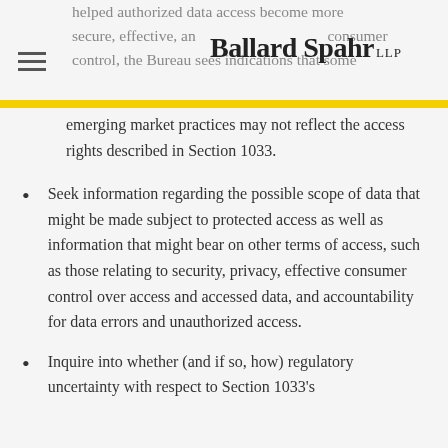helped authorized data access become more secure, effective, and consumer control, the Bureau sees indications that some
emerging market practices may not reflect the access rights described in Section 1033.
Seek information regarding the possible scope of data that might be made subject to protected access as well as information that might bear on other terms of access, such as those relating to security, privacy, effective consumer control over access and accessed data, and accountability for data errors and unauthorized access.
Inquire into whether (and if so, how) regulatory uncertainty with respect to Section 1033's